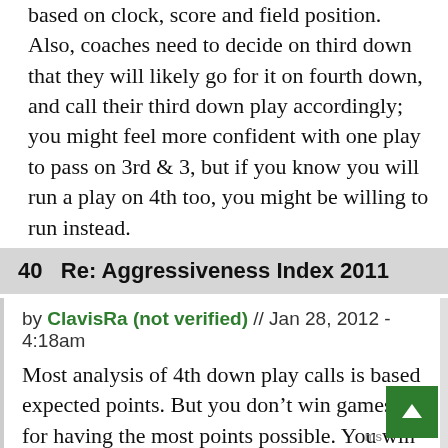based on clock, score and field position. Also, coaches need to decide on third down that they will likely go for it on fourth down, and call their third down play accordingly; you might feel more confident with one play to pass on 3rd & 3, but if you know you will run a play on 4th too, you might be willing to run instead.
40   Re: Aggressiveness Index 2011
by ClavisRa (not verified) // Jan 28, 2012 - 4:18am
Most analysis of 4th down play calls is based expected points. But you don't win games for having the most points possible. You win for having more points than your opponent (extra points don't get extra credit). The same decision